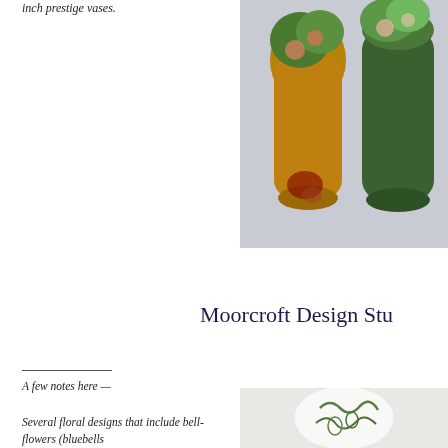inch prestige vases.
[Figure (photo): Two decorative Moorcroft vases with colorful floral and tree designs on dark and green backgrounds]
Moorcroft Design Stu
A few notes here —

Several floral designs that include bell-flowers (bluebells
[Figure (photo): A white Moorcroft vase with green dragonfly and floral tube-lined decoration]